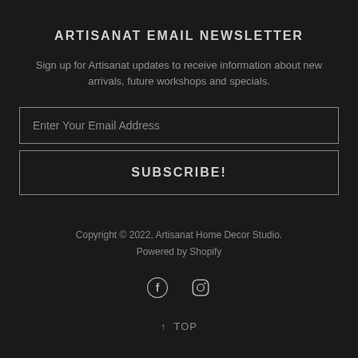ARTISANAT EMAIL NEWSLETTER
Sign up for Artisanat updates to receive information about new arrivals, future workshops and specials.
Enter Your Email Address
SUBSCRIBE!
Copyright © 2022, Artisanat Home Decor Studio. Powered by Shopify
[Figure (other): Social media icons: Facebook (f) and Instagram (camera)]
↑ TOP